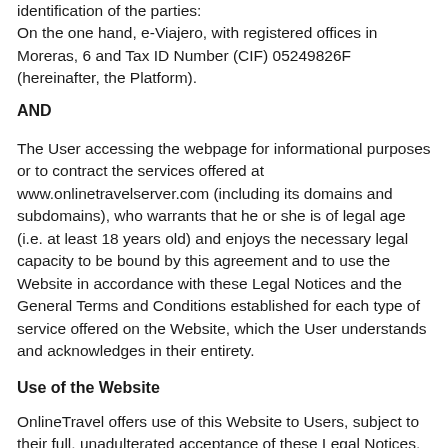identification of the parties:
On the one hand, e-Viajero, with registered offices in Moreras, 6 and Tax ID Number (CIF) 05249826F (hereinafter, the Platform).
AND
The User accessing the webpage for informational purposes or to contract the services offered at www.onlinetravelserver.com (including its domains and subdomains), who warrants that he or she is of legal age (i.e. at least 18 years old) and enjoys the necessary legal capacity to be bound by this agreement and to use the Website in accordance with these Legal Notices and the General Terms and Conditions established for each type of service offered on the Website, which the User understands and acknowledges in their entirety.
Use of the Website
OnlineTravel offers use of this Website to Users, subject to their full, unadulterated acceptance of these Legal Notices. The User's use of the OnlineTravel Website shall be construed as his or her